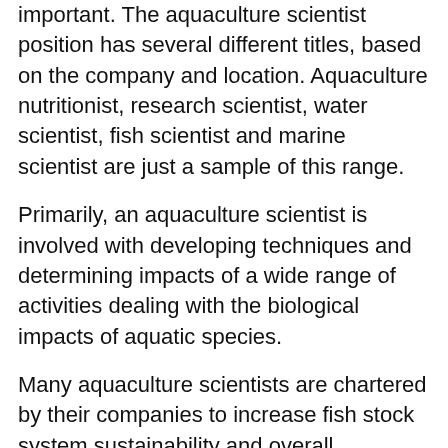important. The aquaculture scientist position has several different titles, based on the company and location. Aquaculture nutritionist, research scientist, water scientist, fish scientist and marine scientist are just a sample of this range.
Primarily, an aquaculture scientist is involved with developing techniques and determining impacts of a wide range of activities dealing with the biological impacts of aquatic species.
Many aquaculture scientists are chartered by their companies to increase fish stock system sustainability and overall production efficiency. Some may be involved with genetic research, to produce aquatic species to better withstand disease or harsh living conditions. Or others may be involved with the supplier side of the industry, with activities focused on improving fish feed options as alternatives to standard